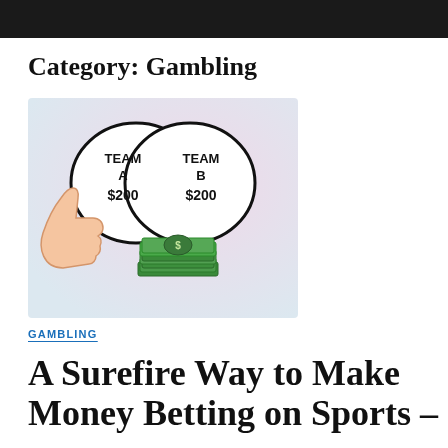Category: Gambling
[Figure (illustration): Illustration showing two speech bubbles labeled 'TEAM A $200' and 'TEAM B $200' overlapping like a Venn diagram, with a thumbs-up hand on the left and a stack of green money bills in the center-bottom.]
GAMBLING
A Surefire Way to Make Money Betting on Sports –